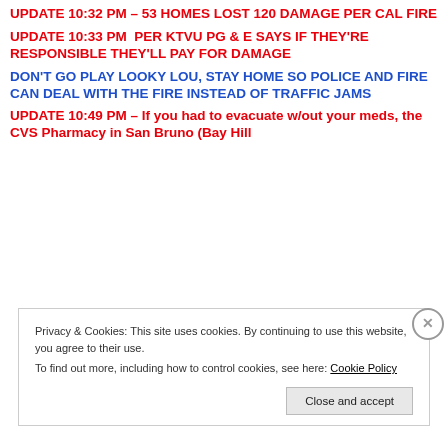UPDATE 10:32 PM – 53 HOMES LOST 120 DAMAGE PER CAL FIRE
UPDATE 10:33 PM  PER KTVU PG & E SAYS IF THEY'RE RESPONSIBLE THEY'LL PAY FOR DAMAGE
DON'T GO PLAY LOOKY LOU, STAY HOME SO POLICE AND FIRE CAN DEAL WITH THE FIRE INSTEAD OF TRAFFIC JAMS
UPDATE 10:49 PM – If you had to evacuate w/out your meds, the CVS Pharmacy in San Bruno (Bay Hill
Privacy & Cookies: This site uses cookies. By continuing to use this website, you agree to their use.
To find out more, including how to control cookies, see here: Cookie Policy